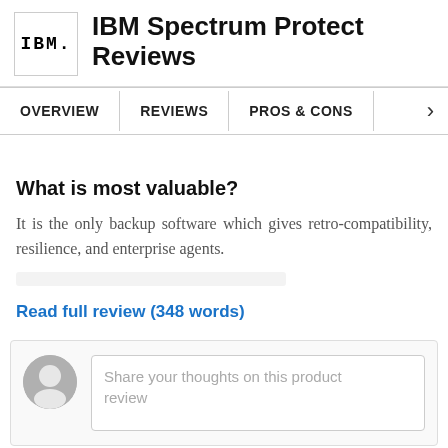IBM Spectrum Protect Reviews
OVERVIEW   REVIEWS   PROS & CONS
What is most valuable?
It is the only backup software which gives retro-compatibility, resilience, and enterprise agents.
Read full review (348 words)
Share your thoughts on this product review